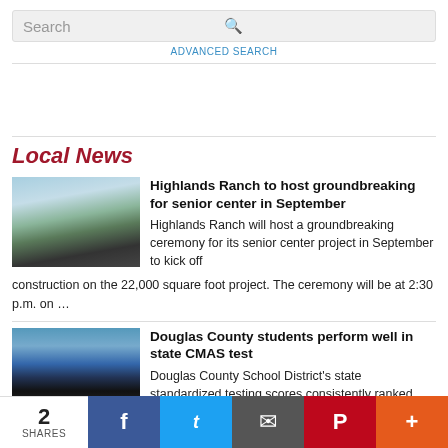Search | ADVANCED SEARCH
Local News
[Figure (photo): Exterior photo of a modern building with flat roof, trees and parking lot]
Highlands Ranch to host groundbreaking for senior center in September
Highlands Ranch will host a groundbreaking ceremony for its senior center project in September to kick off construction on the 22,000 square foot project. The ceremony will be at 2:30 p.m. on …
[Figure (photo): Photo of Douglas County School District sign outside a school building]
Douglas County students perform well in state CMAS test
Douglas County School District's state standardized testing scores consistently ranked
2 SHARES | Facebook | Twitter | Email | Pinterest | More